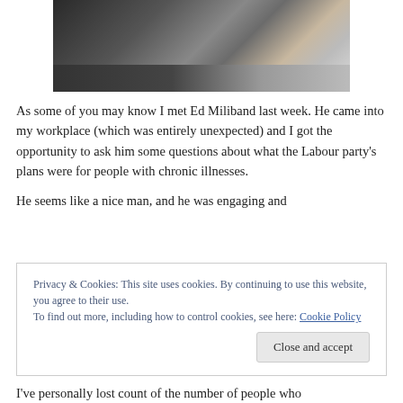[Figure (photo): Photo of people at a workplace counter or reception desk, including a person with red hair gesturing]
As some of you may know I met Ed Miliband last week. He came into my workplace (which was entirely unexpected) and I got the opportunity to ask him some questions about what the Labour party's plans were for people with chronic illnesses.
He seems like a nice man, and he was engaging and
Privacy & Cookies: This site uses cookies. By continuing to use this website, you agree to their use.
To find out more, including how to control cookies, see here: Cookie Policy
Close and accept
I've personally lost count of the number of people who